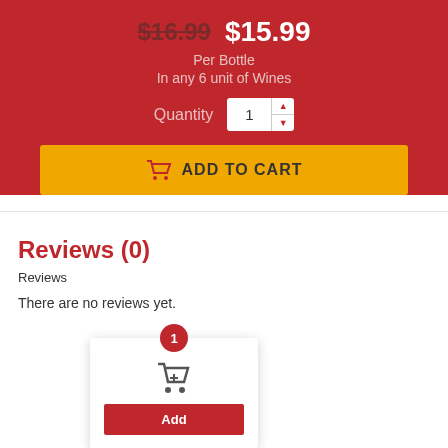$16.99  $15.99
Per Bottle
In any 6 unit of Wines
Quantity  1
ADD TO CART
Reviews (0)
Reviews
There are no reviews yet.
Add